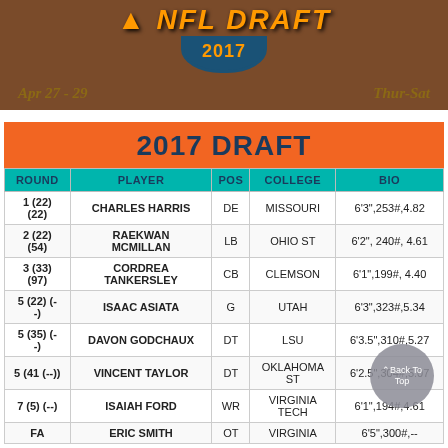[Figure (logo): NFL Draft 2017 banner with orange logo text, shield emblem showing '2017', dates 'Apr 27-29' and 'Thur-Sat' on a brown leather texture background]
2017 DRAFT
| ROUND | PLAYER | POS | COLLEGE | BIO |
| --- | --- | --- | --- | --- |
| 1 (22) (22) | CHARLES HARRIS | DE | MISSOURI | 6'3",253#,4.82 |
| 2 (22) (54) | RAEKWAN MCMILLAN | LB | OHIO ST | 6'2", 240#, 4.61 |
| 3 (33) (97) | CORDREA TANKERSLEY | CB | CLEMSON | 6'1",199#, 4.40 |
| 5 (22) (-  -) | ISAAC ASIATA | G | UTAH | 6'3",323#,5.34 |
| 5 (35) (-  -) | DAVON GODCHAUX | DT | LSU | 6'3.5",310#,5.27 |
| 5 (41 (--)) | VINCENT TAYLOR | DT | OKLAHOMA ST | 6'2.5",304#,5.07 |
| 7 (5) (--) | ISAIAH FORD | WR | VIRGINIA TECH | 6'1",194#,4.61 |
| FA | ERIC SMITH | OT | VIRGINIA | 6'5",300#,-- |